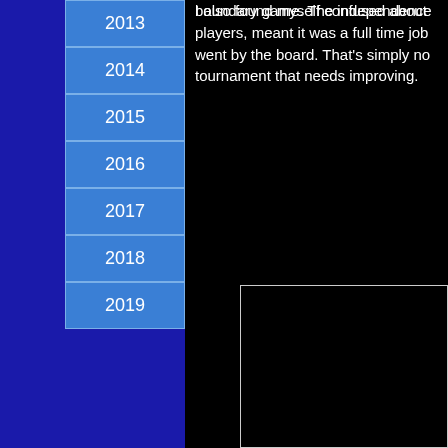2013
2014
2015
2016
2017
2018
2019
boundary game. The independence players, meant it was a full time job went by the board. That's simply no tournament that needs improving.
I also found myself confused about
[Figure (other): Black rectangle with white border, partially visible, representing an embedded image or video placeholder]